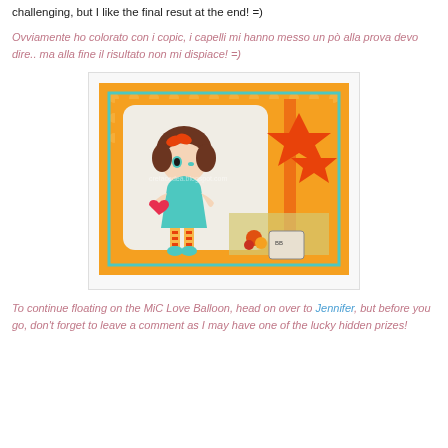challenging, but I like the final resut at the end! =)
Ovviamente ho colorato con i copic, i capelli mi hanno messo un pò alla prova devo dire.. ma alla fine il risultato non mi dispiace! =)
[Figure (photo): A handmade greeting card with an orange patterned background, a cartoon girl character colored in teal dress with striped stockings holding a heart, decorated with orange star die-cuts and flowers, with a watermark reading 'cretacedea.blogspot.com']
To continue floating on the MiC Love Balloon, head on over to Jennifer, but before you go, don't forget to leave a comment as I may have one of the lucky hidden prizes!